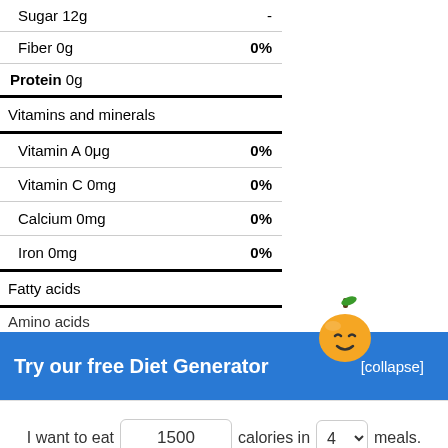| Nutrient | Value |
| --- | --- |
| Sugar 12g | - |
| Fiber 0g | 0% |
| Protein 0g |  |
| Vitamins and minerals |  |
| Vitamin A 0μg | 0% |
| Vitamin C 0mg | 0% |
| Calcium 0mg | 0% |
| Iron 0mg | 0% |
| Fatty acids |  |
| Amino acids |  |
Try our free Diet Generator
[collapse]
I want to eat 1500 calories in 4 meals.
Generate